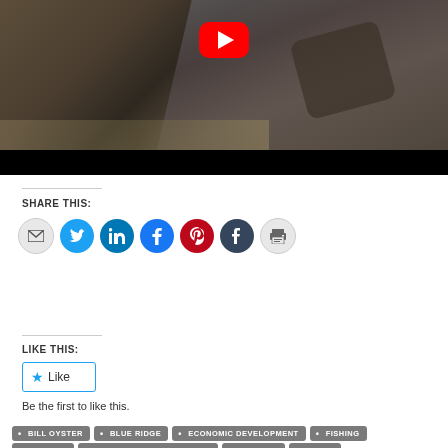[Figure (screenshot): YouTube video thumbnail showing a fisherman in outdoor gear by a stream, with a red YouTube play button overlay and black bar at bottom]
SHARE THIS:
[Figure (infographic): Row of social sharing icon buttons: email, Twitter, LinkedIn, Facebook, Pinterest, Tumblr, Print]
LIKE THIS:
[Figure (infographic): Like button with blue star icon and 'Like' text]
Be the first to like this.
BILL OYSTER
BLUE RIDGE
ECONOMIC DEVELOPMENT
FISHING
GEORGIA
OYSTER BAMBOO FLY RODS
STREAMS
TROUT